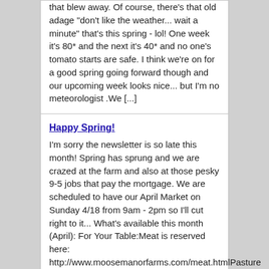that blew away.  Of course, there's that old adage "don't like the weather... wait a minute" that's this spring - lol!  One week it's 80* and the next it's 40* and no one's tomato starts are safe.  I think we're on for a good spring going forward though and our upcoming week looks nice... but I'm no meteorologist .We [...]
Happy Spring!
I'm sorry the newsletter is so late this month!  Spring has sprung and we are crazed at the farm and also at those pesky 9-5 jobs that pay the mortgage.  We are scheduled to have our April Market on Sunday 4/18 from 9am - 2pm so I'll cut right to it... What's available this month (April): For Your Table:Meat is reserved here: http://www.moosemanorfarms.com/meat.htmlPasture Raised Whole Chicken (6 lbs & 7 lbs only)Turkey ThighsLeg of Lamb (bone-in)Duck or Chicken [...]